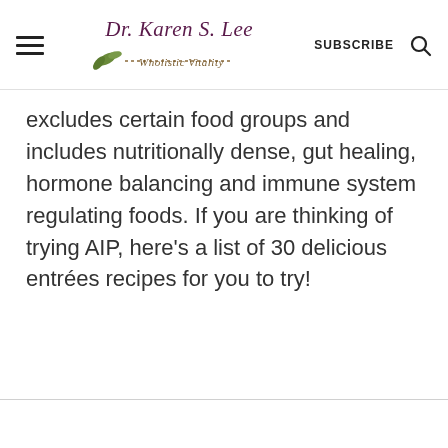Dr. Karen S. Lee — Wholistic Vitality | SUBSCRIBE
excludes certain food groups and includes nutritionally dense, gut healing, hormone balancing and immune system regulating foods. If you are thinking of trying AIP, here's a list of 30 delicious entrées recipes for you to try!